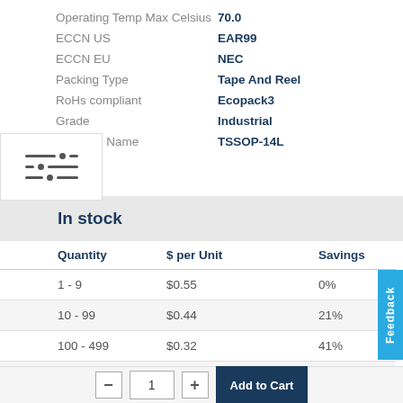Operating Temp Max Celsius: 70.0
ECCN US: EAR99
ECCN EU: NEC
Packing Type: Tape And Reel
RoHs compliant: Ecopack3
Grade: Industrial
Package Name: TSSOP-14L
In stock
| Quantity | $ per Unit | Savings |
| --- | --- | --- |
| 1 - 9 | $0.55 | 0% |
| 10 - 99 | $0.44 | 21% |
| 100 - 499 | $0.32 | 41% |
| 500 | $0.27 | 50% |
| 500 + | Contact Sales → |  |